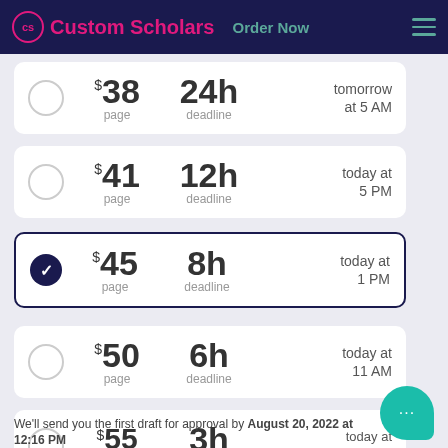Custom Scholars | Order Now
$38 per page | 24h deadline | tomorrow at 5 AM
$41 per page | 12h deadline | today at 5 PM
$45 per page | 8h deadline | today at 1 PM (selected)
$50 per page | 6h deadline | today at 11 AM
$55 per page | 3h deadline | today at 8 AM
We'll send you the first draft for approval by August 20, 2022 at 12:16 PM